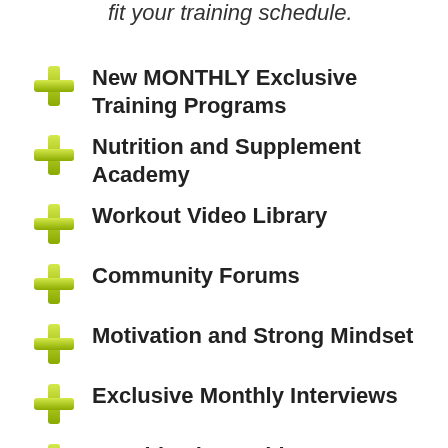fit your training schedule.
New MONTHLY Exclusive Training Programs
Nutrition and Supplement Academy
Workout Video Library
Community Forums
Motivation and Strong Mindset
Exclusive Monthly Interviews
Monthly Live Webinars